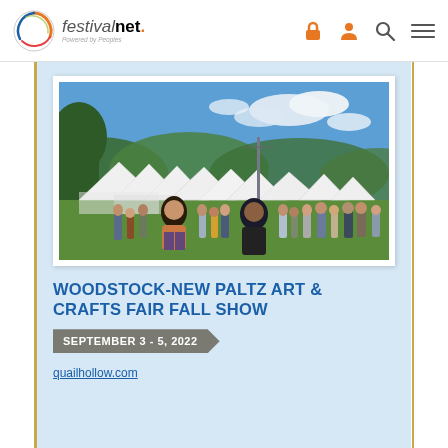festivalnet. Powered by Peoples
[Figure (photo): Outdoor arts and crafts fair with white tent booths, crowd of visitors walking on grass, trees and hills in background under blue sky with clouds]
WOODSTOCK-NEW PALTZ ART & CRAFTS FAIR FALL SHOW
SEPTEMBER 3 - 5, 2022
quailhollow.com